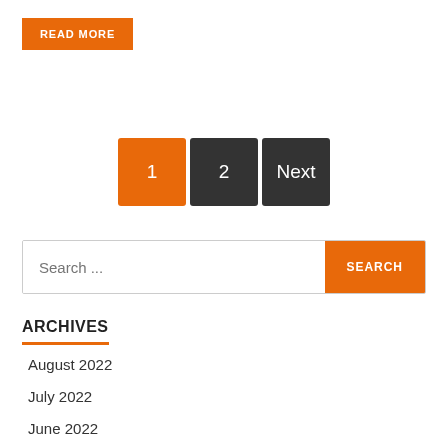READ MORE
1  2  Next
Search ...
ARCHIVES
August 2022
July 2022
June 2022